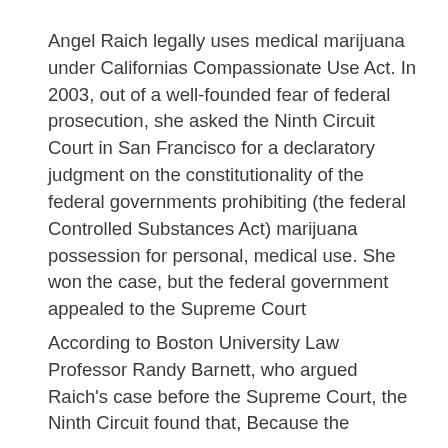Angel Raich legally uses medical marijuana under Californias Compassionate Use Act. In 2003, out of a well-founded fear of federal prosecution, she asked the Ninth Circuit Court in San Francisco for a declaratory judgment on the constitutionality of the federal governments prohibiting (the federal Controlled Substances Act) marijuana possession for personal, medical use. She won the case, but the federal government appealed to the Supreme Court
According to Boston University Law Professor Randy Barnett, who argued Raich's case before the Supreme Court, the Ninth Circuit found that, Because the